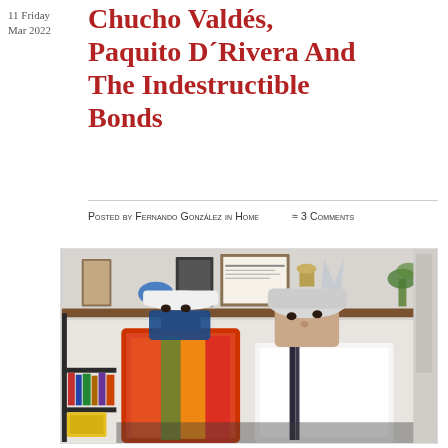11 Friday
Mar 2022
Chucho Valdes, Paquito D´Rivera And The Indestructible Bonds
Posted by Fernando González in Home  ≈ 3 Comments
[Figure (photo): Two men leaning over a table in an office or studio, one wearing a white cap and colorful scarf with a blue face mask, the other with white hair wearing a white t-shirt; shelves with awards, trophies, framed items, and decor visible in background.]